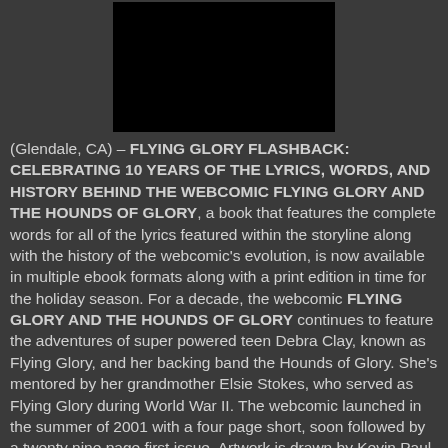[Figure (other): Black rectangular image at the top center of the page]
(Glendale, CA) – FLYING GLORY FLASHBACK: CELEBRATING 10 YEARS OF THE LYRICS, WORDS, AND HISTORY BEHIND THE WEBCOMIC FLYING GLORY AND THE HOUNDS OF GLORY, a book that features the complete words for all of the lyrics featured within the storyline along with the history of the webcomic's evolution, is now available in multiple ebook formats along with a print edition in time for the holiday season. For a decade, the webcomic FLYING GLORY AND THE HOUNDS OF GLORY continues to feature the adventures of super powered teen Debra Clay, known as Flying Glory, and her backing band the Hounds of Glory. She's mentored by her grandmother Elsie Stokes, who served as Flying Glory during World War II. The webcomic launched in the summer of 2001 with a four page short, soon followed by a twenty nine page first issue. Artwork is drawn by Kevin Paul Shaw Broden, who co-writes the adventures with Shannon Muir. Currently, each issue is twenty-four pages in length and generally posted as one